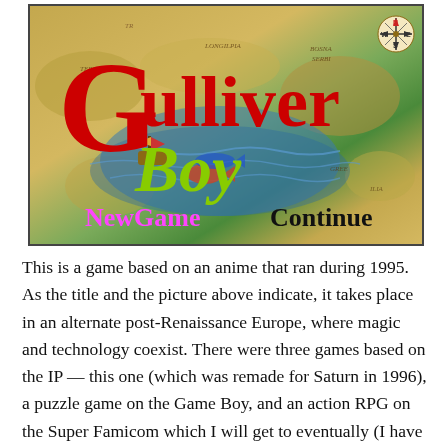[Figure (screenshot): Screenshot of Gulliver Boy game title screen showing a fantasy map of Europe with the title 'Gulliver Boy' in large red and green stylized text, a compass rose in the top right, and menu options 'NewGame' in magenta and 'Continue' in black at the bottom.]
This is a game based on an anime that ran during 1995. As the title and the picture above indicate, it takes place in an alternate post-Renaissance Europe, where magic and technology coexist. There were three games based on the IP — this one (which was remade for Saturn in 1996), a puzzle game on the Game Boy, and an action RPG on the Super Famicom which I will get to eventually (I have it as game 117